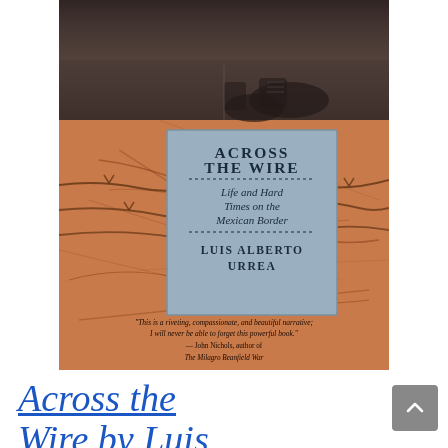[Figure (illustration): Book cover of 'Across the Wire: Life and Hard Times on the Mexican Border' by Luis Alberto Urrea. Top portion shows a black and white photograph of boots/feet. The main background is an orange-brown textured surface with barbed wire crossing it. A blue-gray rectangular box in the center contains the title 'ACROSS THE WIRE' in bold serif, a decorative dash line, italic subtitle 'Life and Hard Times on the Mexican Border', another dash line, and author name 'LUIS ALBERTO URREA'. Below the box is a quote: 'This is a riveting, compassionate, and beautiful narrative; I will never be able to forget this powerful book.' - John Nichols, author of The Milagro Beanfield War.]
Across the Wire by Luis